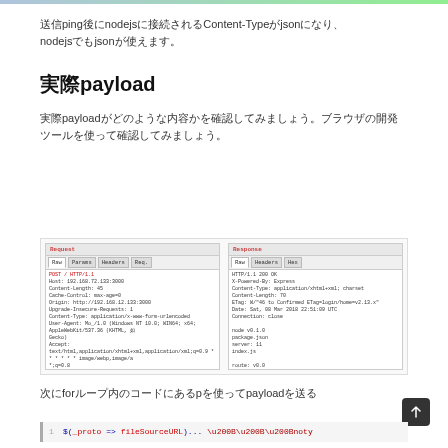送信ping後にnodejsに接続されるContent-Typeがjsonになり、nodejsでもjsonが使えます。
実際payload
実際payloadがどのような内容かを確認してみましょう。ブラウザの開発ツールを使って確認してみましょう。
[Figure (screenshot): Browser developer tools showing Request and Response panels with HTTP headers and payload data]
次にforループ内のコードにあるpを使ってpayloadを送る
[Figure (screenshot): Code snippet showing file operations with fileSourceURL and node code]